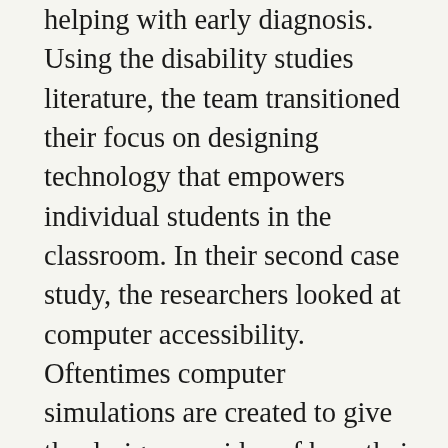helping with early diagnosis. Using the disability studies literature, the team transitioned their focus on designing technology that empowers individual students in the classroom. In their second case study, the researchers looked at computer accessibility. Oftentimes computer simulations are created to give the designer an idea of how their technology might be used by people with disabilities. However, these simulations may not be accurate and still lack the thoughts and feelings of the user with disabilities. The researchers offer alternatives to simulation: involve a small number of people with disabilities much more deeply in the design process or gather data that can be used to test hypotheses rather than create a simulation. Ultimately, the research team recommends using technology “to support empowerment and understanding” of people with disabilities.